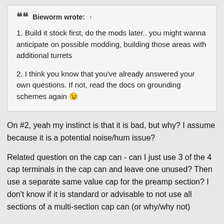Bieworm wrote: ↑
1. Build it stock first, do the mods later.. you might wanna anticipate on possible modding, building those areas with additional turrets
2. I think you know that you've already answered your own questions. If not, read the docs on grounding schemes again 😉
On #2, yeah my instinct is that it is bad, but why? I assume because it is a potential noise/hum issue?
Related question on the cap can - can I just use 3 of the 4 cap terminals in the cap can and leave one unused? Then use a separate same value cap for the preamp section? I don't know if it is standard or advisable to not all sections of a multi-section cap can (or why/why not)